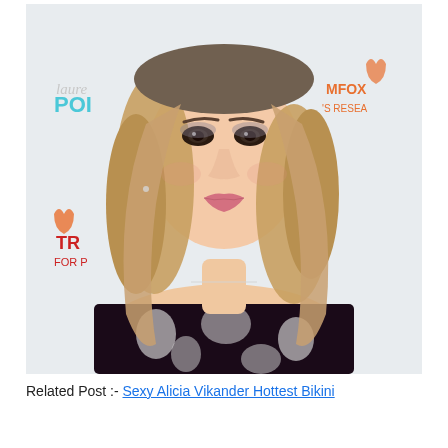[Figure (photo): A smiling blonde woman wearing a dark floral off-the-shoulder dress, photographed in front of a step-and-repeat banner showing logos including 'lauren POI...' in teal and 'MFOX N'S RESEA...' in orange, and 'TR... FOR P...' in red. She has light brown eyes, smoky eye makeup, and a delicate necklace.]
Related Post :- Sexy Alicia Vikander Hottest Bikini